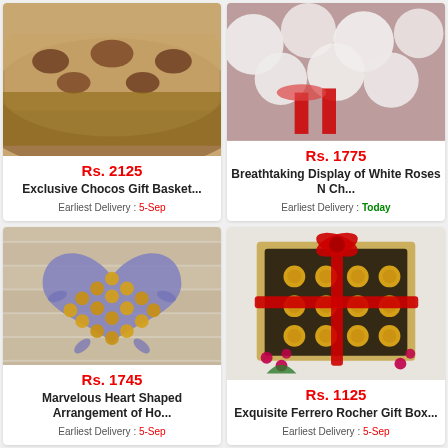[Figure (photo): Exclusive Chocos Gift Basket product photo (top portion visible)]
Rs. 2125
Exclusive Chocos Gift Basket...
Earliest Delivery : 5-Sep
[Figure (photo): Breathtaking Display of White Roses N Chocolates product photo (top portion visible)]
Rs. 1775
Breathtaking Display of White Roses N Ch...
Earliest Delivery : Today
[Figure (photo): Heart-shaped arrangement of chocolates (Ferrero Rocher) wrapped in purple flowers on wooden background]
Rs. 1745
Marvelous Heart Shaped Arrangement of Ho...
Earliest Delivery : 5-Sep
[Figure (photo): Exquisite Ferrero Rocher Gift Box with red ribbon on white background with berries]
Rs. 1125
Exquisite Ferrero Rocher Gift Box...
Earliest Delivery : 5-Sep